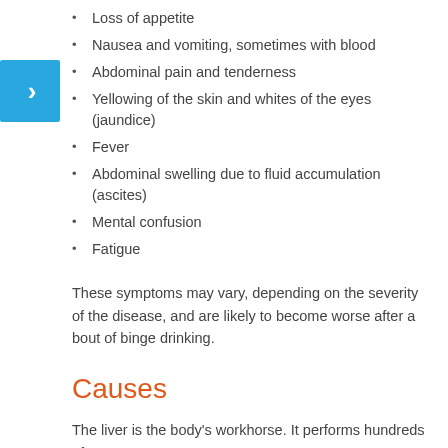Loss of appetite
Nausea and vomiting, sometimes with blood
Abdominal pain and tenderness
Yellowing of the skin and whites of the eyes (jaundice)
Fever
Abdominal swelling due to fluid accumulation (ascites)
Mental confusion
Fatigue
These symptoms may vary, depending on the severity of the disease, and are likely to become worse after a bout of binge drinking.
Causes
The liver is the body's workhorse. It performs hundreds of